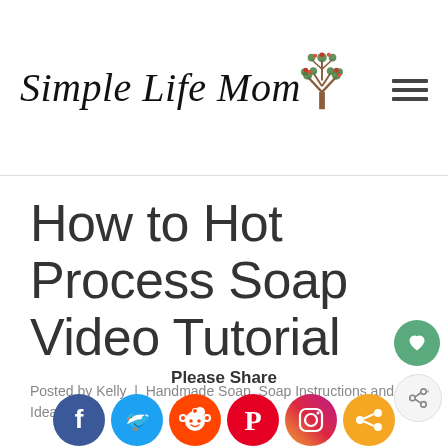Simple Life Mom
How to Hot Process Soap Video Tutorial
Posted by Kelly | Handmade Soap, Soap Instructions and Ideas
Please Share
[Figure (infographic): Social sharing icons: Facebook, Twitter, Reddit, Pinterest, Instagram, Share]